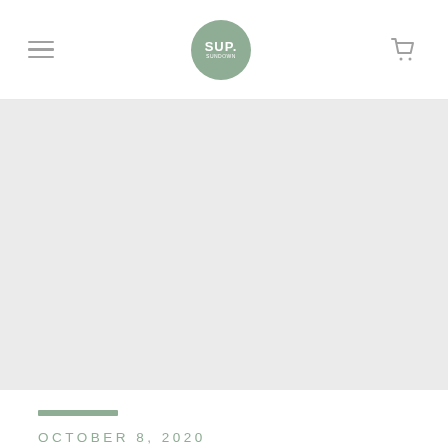SUP. — Navigation bar with hamburger menu, SUP logo, and cart icon
[Figure (photo): Large hero image area with light gray background, no visible image content loaded]
OCTOBER 8, 2020